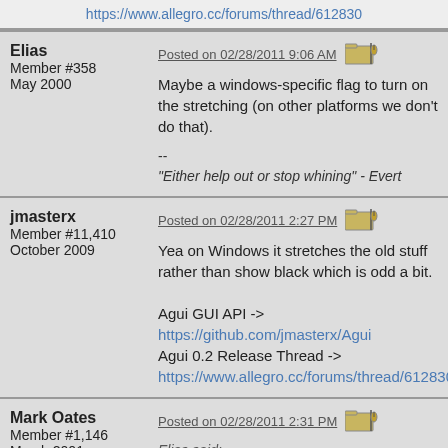https://www.allegro.cc/forums/thread/612830
Elias
Member #358
May 2000
Posted on 02/28/2011 9:06 AM
Maybe a windows-specific flag to turn on the stretching (on other platforms we don't do that).

--
"Either help out or stop whining" - Evert
jmasterx
Member #11,410
October 2009
Posted on 02/28/2011 2:27 PM
Yea on Windows it stretches the old stuff rather than show black which is odd a bit.

Agui GUI API ->
https://github.com/jmasterx/Agui
Agui 0.2 Release Thread ->
https://www.allegro.cc/forums/thread/612830
Mark Oates
Member #1,146
March 2001
Posted on 02/28/2011 2:31 PM
Elias said:
windows-specific flag to turn on the stretching